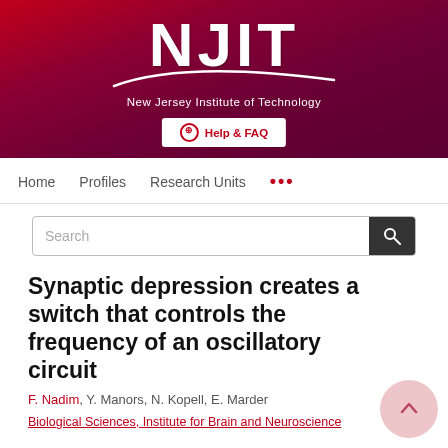[Figure (logo): NJIT New Jersey Institute of Technology logo on dark red/maroon gradient banner with red top strip and Help & FAQ button]
Home   Profiles   Research Units   ...
Search
Synaptic depression creates a switch that controls the frequency of an oscillatory circuit
F. Nadim, Y. Manors, N. Kopell, E. Marder
Biological Sciences, Institute for Brain and Neuroscience